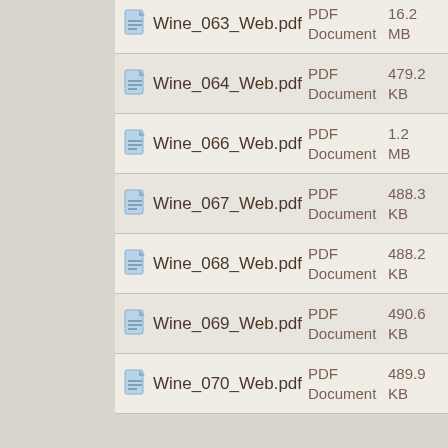Wine_063_Web.pdf  PDF Document  16.2 MB
Wine_064_Web.pdf  PDF Document  479.2 KB
Wine_066_Web.pdf  PDF Document  1.2 MB
Wine_067_Web.pdf  PDF Document  488.3 KB
Wine_068_Web.pdf  PDF Document  488.2 KB
Wine_069_Web.pdf  PDF Document  490.6 KB
Wine_070_Web.pdf  PDF Document  489.9 KB